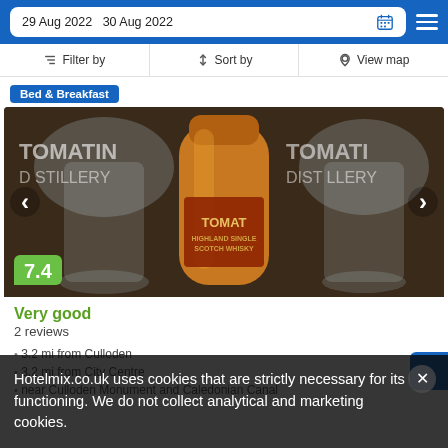29 Aug 2022  30 Aug 2022
Filter by  |  Sort by  |  View map
Bed & Breakfast
[Figure (photo): Photo of Tomatin Highland Single Malt Scotch Whisky bottle with distillery glassware in background. Score badge showing 7.4 in green.]
Very good
2 reviews
3.2 mi from Culloden
3.2 mi from City Centre
near Culloden Monument and Caledonian Canal
Hotelmix.co.uk uses cookies that are strictly necessary for its functioning. We do not collect analytical and marketing cookies.